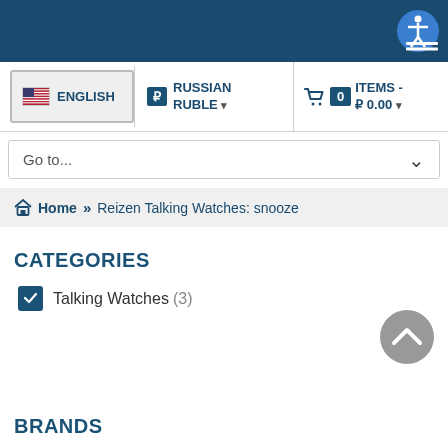[Figure (screenshot): Dark blue top navigation bar with accessibility icon (blue circle with person figure) in top right corner]
ENGLISH | RUSSIAN RUBLE | 0 ITEMS - ₽ 0.00
Go to...
Home » Reizen Talking Watches: snooze
CATEGORIES
Talking Watches (3)
BRANDS